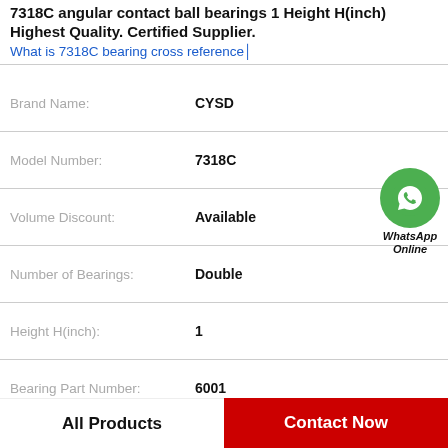7318C angular contact ball bearings 1 Height H(inch) Highest Quality. Certified Supplier.
What is 7318C bearing cross reference
| Property | Value |
| --- | --- |
| Brand Name: | CYSD |
| Model Number: | 7318C |
| Volume Discount: | Available |
| Number of Bearings: | Double |
| Height H(inch): | 1 |
| Bearing Part Number: | 6001 |
| Bearing Retained: | No |
| Holder Surface Treatment: | Clear Anodize |
[Figure (logo): WhatsApp Online green circle phone icon with WhatsApp Online text]
All Products
Contact Now